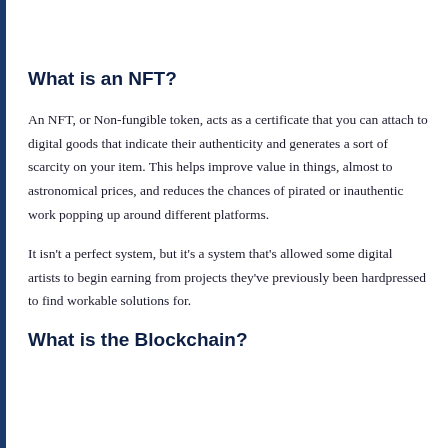What is an NFT?
An NFT, or Non-fungible token, acts as a certificate that you can attach to digital goods that indicate their authenticity and generates a sort of scarcity on your item. This helps improve value in things, almost to astronomical prices, and reduces the chances of pirated or inauthentic work popping up around different platforms.
It isn't a perfect system, but it's a system that's allowed some digital artists to begin earning from projects they've previously been hardpressed to find workable solutions for.
What is the Blockchain?